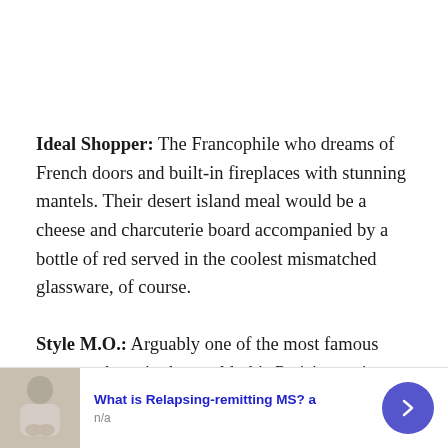Ideal Shopper: The Francophile who dreams of French doors and built-in fireplaces with stunning mantels. Their desert island meal would be a cheese and charcuterie board accompanied by a bottle of red served in the coolest mismatched glassware, of course.
Style M.O.: Arguably one of the most famous concept shops in the world, this Parisian mainstay
[Figure (photo): Advertisement banner at the bottom of the page showing a person with clasped hands, with the text 'What is Relapsing-remitting MS? a' and 'n/a' below, and a dark blue circular arrow button on the right.]